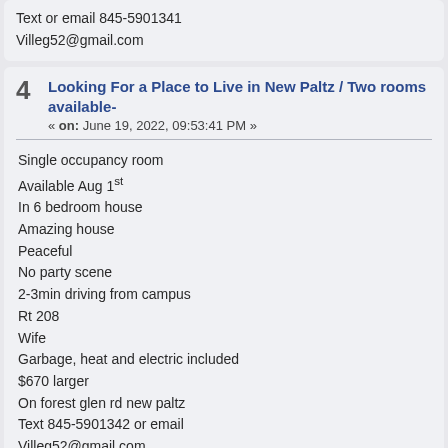Text or email 845-5901341
Villeg52@gmail.com
4  Looking For a Place to Live in New Paltz / Two rooms available-
« on: June 19, 2022, 09:53:41 PM »
Single occupancy room
Available Aug 1st
In 6 bedroom house
Amazing house
Peaceful
No party scene
2-3min driving from campus
Rt 208
Wife
Garbage, heat and electric included
$670 larger
On forest glen rd new paltz
Text 845-5901342 or email
Villeg52@gmail.com
5  For Rent in New Paltz / Cool room for rent